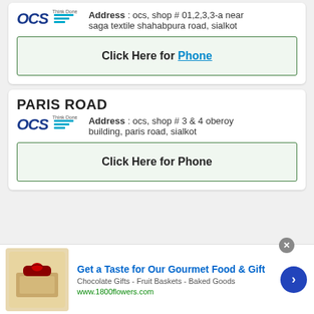Address: ocs, shop # 01,2,3,3-a near saga textile shahabpura road, sialkot
Click Here for Phone
PARIS ROAD
Address: ocs, shop # 3 & 4 oberoy building, paris road, sialkot
Click Here for Phone
Get a Taste for Our Gourmet Food & Gift
Chocolate Gifts - Fruit Baskets - Baked Goods
www.1800flowers.com